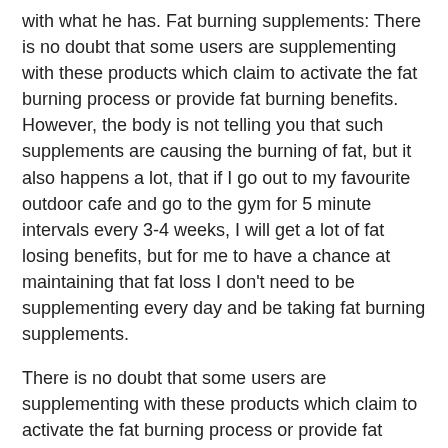with what he has. Fat burning supplements: There is no doubt that some users are supplementing with these products which claim to activate the fat burning process or provide fat burning benefits. However, the body is not telling you that such supplements are causing the burning of fat, but it also happens a lot, that if I go out to my favourite outdoor cafe and go to the gym for 5 minute intervals every 3-4 weeks, I will get a lot of fat losing benefits, but for me to have a chance at maintaining that fat loss I don't need to be supplementing every day and be taking fat burning supplements.
There is no doubt that some users are supplementing with these products which claim to activate the fat burning process or provide fat burning benefits. However, the body is not telling you that such supplements are causing the burning of fat, but it also happens a lot, that if I go out to my favourite outdoor